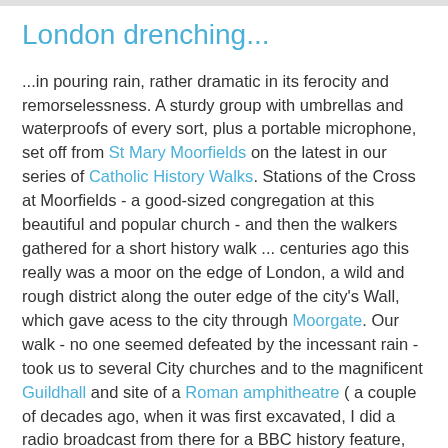London drenching...
...in pouring rain, rather dramatic in its ferocity and remorselessness. A sturdy group with umbrellas and waterproofs of every sort, plus a portable microphone, set off from St Mary Moorfields on the latest in our series of Catholic History Walks. Stations of the Cross at Moorfields - a good-sized congregation at this beautiful and popular church - and then the walkers gathered for a short history walk ... centuries ago this really was a moor on the edge of London, a wild and rough district along the outer edge of the city's Wall, which gave acess to the city through Moorgate. Our walk - no one seemed defeated by the incessant rain - took us to several City churches and to the magnificent Guildhall and site of a Roman amphitheatre ( a couple of decades ago, when it was first excavated, I did a radio broadcast from there for a BBC history feature, standing at the entrance where once wild animals were let into the arena...). We finished on the steps of St Paul's Cathedral - the great clock dramatically chiming the hour as we looked